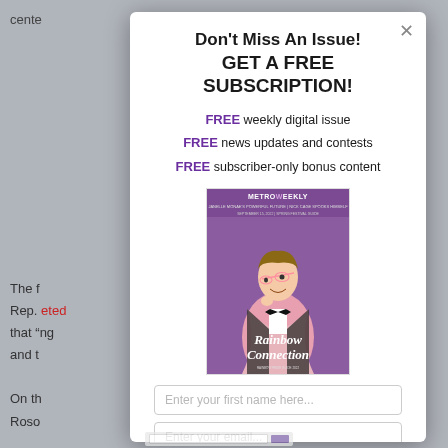[Figure (screenshot): Background page content partially visible behind a modal dialog, showing gray dimmed text fragments including 'cente', body text paragraphs, and red hyperlink text]
Don't Miss An Issue!
GET A FREE SUBSCRIPTION!
FREE weekly digital issue
FREE news updates and contests
FREE subscriber-only bonus content
[Figure (photo): Metro Weekly magazine cover featuring a man in a pink sequined tuxedo jacket with bow tie, holding glasses, with 'Rainbow Connection' text overlay and 'MetroWeekly' masthead]
Enter your first name here...
Enter your email...